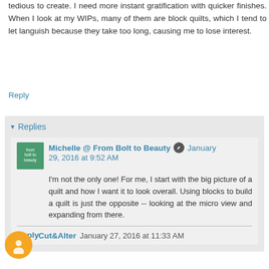tedious to create. I need more instant gratification with quicker finishes. When I look at my WIPs, many of them are block quilts, which I tend to let languish because they take too long, causing me to lose interest.
Reply
Replies
Michelle @ From Bolt to Beauty January 29, 2016 at 9:52 AM
I'm not the only one! For me, I start with the big picture of a quilt and how I want it to look overall. Using blocks to build a quilt is just the opposite -- looking at the micro view and expanding from there.
Reply
Cut&Alter January 27, 2016 at 11:33 AM